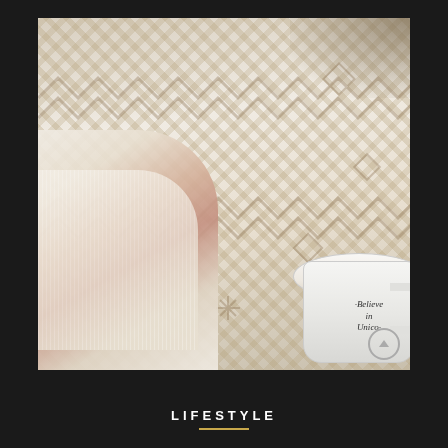[Figure (photo): A hand with red nails wearing a fluffy white sweater holding a white mug that reads 'Believe in Unicorns', resting on a patterned Nordic/Fair Isle blanket in beige and brown tones. Cozy lifestyle scene.]
LIFESTYLE